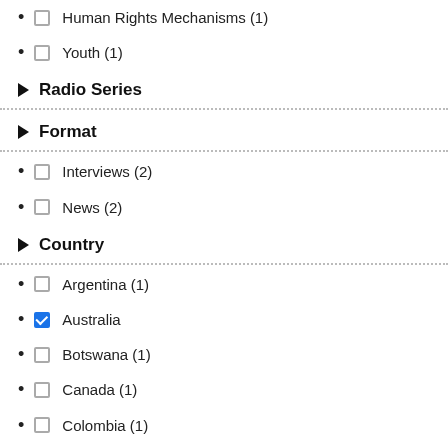Human Rights Mechanisms (1)
Youth (1)
Radio Series
Format
Interviews (2)
News (2)
Country
Argentina (1)
Australia
Botswana (1)
Canada (1)
Colombia (1)
Guatemala (2)